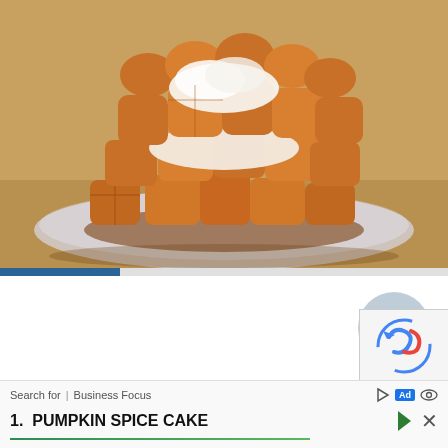[Figure (photo): A stack of pumpkin waffles with whipped cream and syrup on a glass plate, on a wooden surface. The waffles are golden-orange colored and stacked high.]
[Figure (other): A circular 'TOP' scroll-to-top button with an upward arrow, light blue-grey color]
[Figure (other): Partial reCAPTCHA widget box in lower right corner]
Search for  |  Business Focus
1.  PUMPKIN SPICE CAKE